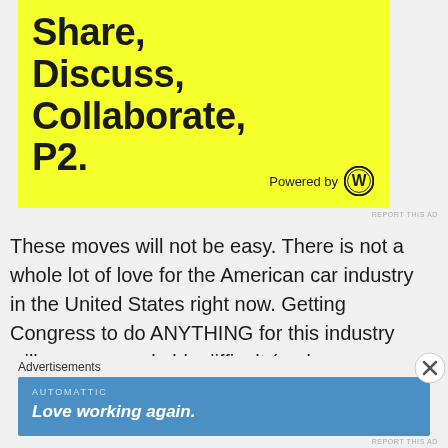[Figure (screenshot): Yellow advertisement banner showing partial text 'Share, Discuss, Collaborate, P2.' in bold black on yellow background, with 'Powered by' and WordPress logo at bottom right]
REPORT THIS AD
These moves will not be easy. There is not a whole lot of love for the American car industry in the United States right now. Getting Congress to do ANYTHING for this industry will prove remarkably difficult (and will be virtually impossible if American Congress...
Advertisements
[Figure (screenshot): Blue Automattic advertisement banner with text 'AUTOMATTIC' and tagline 'Love working again.']
REPORT THIS AD